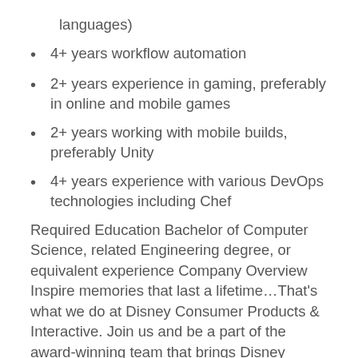languages)
4+ years workflow automation
2+ years experience in gaming, preferably in online and mobile games
2+ years working with mobile builds, preferably Unity
4+ years experience with various DevOps technologies including Chef
Required Education Bachelor of Computer Science, related Engineering degree, or equivalent experience Company Overview Inspire memories that last a lifetime...That's what we do at Disney Consumer Products & Interactive. Join us and be a part of the award-winning team that brings Disney